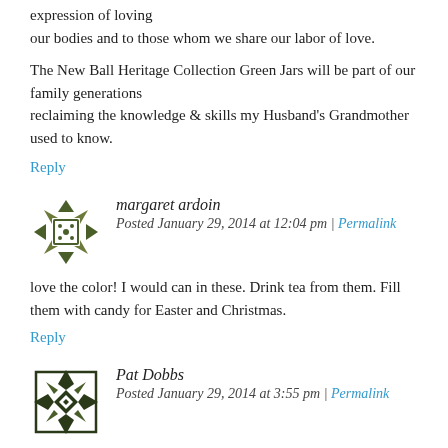expression of loving our bodies and to those whom we share our labor of love.
The New Ball Heritage Collection Green Jars will be part of our family generations reclaiming the knowledge & skills my Husband's Grandmother used to know.
Reply
margaret ardoin
Posted January 29, 2014 at 12:04 pm | Permalink
love the color! I would can in these. Drink tea from them. Fill them with candy for Easter and Christmas.
Reply
Pat Dobbs
Posted January 29, 2014 at 3:55 pm | Permalink
My grandmother canned. When I was 4-5 years old she had me help wash last years jars as my “hands are small enough to clean inside” the jars. I wasn’t too happy about it but now realize I was part of the